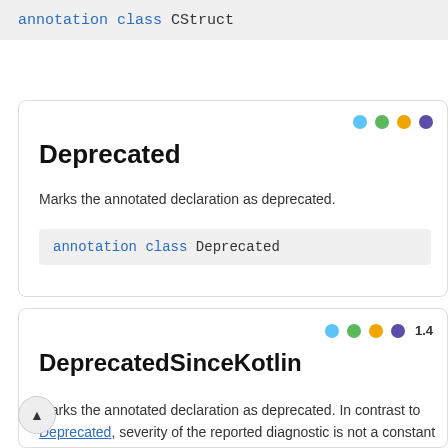annotation class CStruct
← Docs
Deprecated
Marks the annotated declaration as deprecated.
annotation class Deprecated
DeprecatedSinceKotlin
Marks the annotated declaration as deprecated. In contrast to Deprecated, severity of the reported diagnostic is not a constant value, but differs depending on the API version of the usage (the value of the api_version argument when